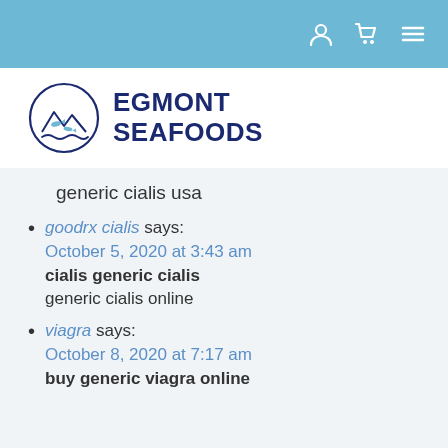Navigation bar with user, cart, and menu icons
[Figure (logo): Egmont Seafoods logo: circular emblem with fish and waves above stylized mountains, beside bold navy text reading EGMONT SEAFOODS]
generic cialis usa
goodrx cialis says: October 5, 2020 at 3:43 am
cialis generic cialis
generic cialis online
viagra says: October 8, 2020 at 7:17 am
buy generic viagra online